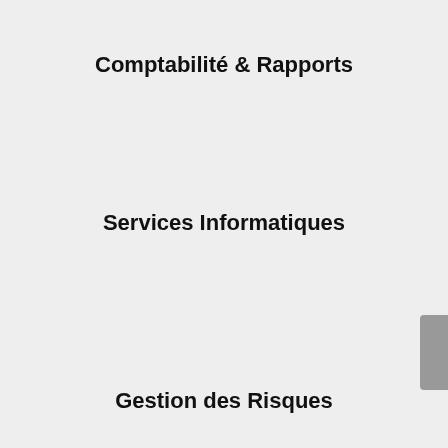Comptabilité & Rapports
Services Informatiques
Gestion des Risques